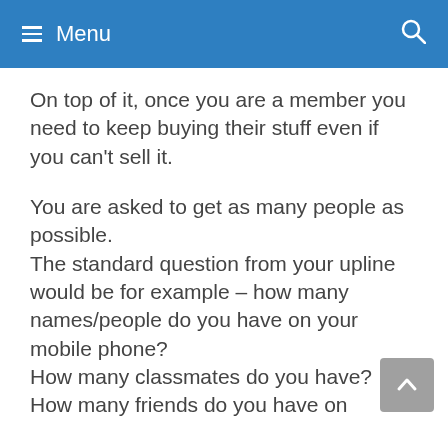Menu
On top of it, once you are a member you need to keep buying their stuff even if you can't sell it.
You are asked to get as many people as possible.
The standard question from your upline would be for example – how many names/people do you have on your mobile phone?
How many classmates do you have?
How many friends do you have on Facebook?